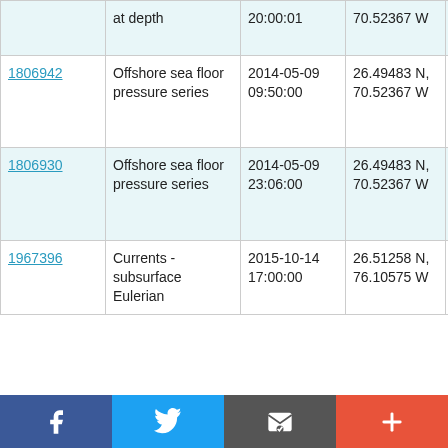| ID | Type | Date/Time | Location | Cruise |
| --- | --- | --- | --- | --- |
|  | at depth | 20:00:01 | 70.52367 W | Cook JC103 |
| 1806942 | Offshore sea floor pressure series | 2014-05-09 09:50:00 | 26.49483 N, 70.52367 W | RRS James Cook JC103 |
| 1806930 | Offshore sea floor pressure series | 2014-05-09 23:06:00 | 26.49483 N, 70.52367 W | RRS James Cook JC103 |
| 1967396 | Currents - subsurface Eulerian | 2015-10-14 17:00:00 | 26.51258 N, 76.10575 W | RV Endeavor EN570 |